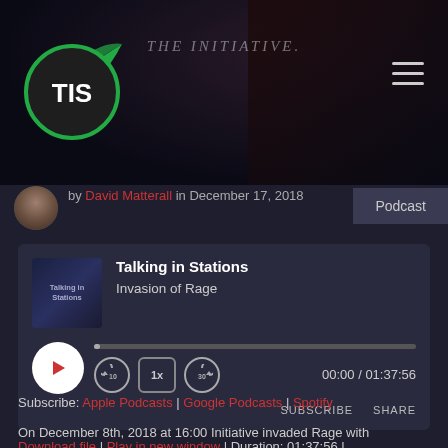[Figure (screenshot): Dark banner with TIS logo (green circle with TIS text), The Initiative text in center, hamburger menu icon top right]
by David Matterall in December 17, 2018
Podcast
[Figure (other): Podcast player widget for Talking in Stations - Invasion of Rage, with play button, progress bar, speed controls, time 00:00 / 01:37:56, SUBSCRIBE and SHARE buttons]
Download file | Play in new window | Duration: 01:37:56 | Recorded on December 16, 2018
Subscribe: Apple Podcasts | Google Podcasts | Spotify
On December 8th, 2018 at 16:00 Initiative invaded Rage with